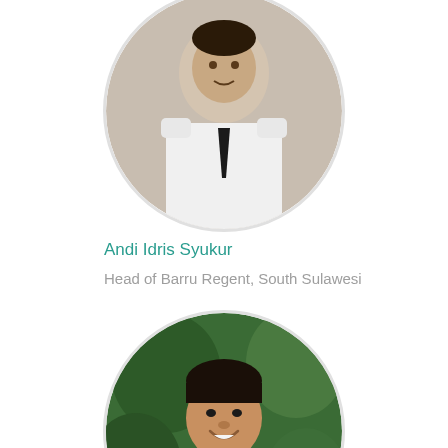[Figure (photo): Circular portrait photo of a man in white official uniform with black tie and epaulettes, likely a government official]
Andi Idris Syukur
Head of Barru Regent, South Sulawesi
[Figure (photo): Circular portrait photo of a smiling man in a blue shirt, with green foliage background]